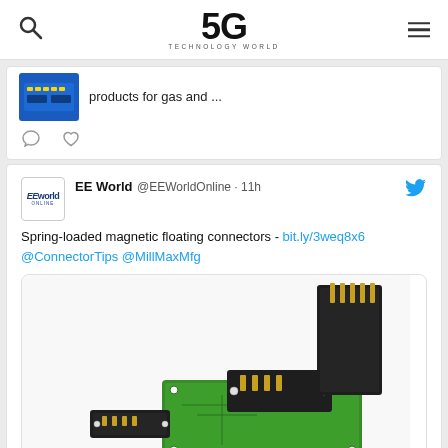5G Technology World
[Figure (screenshot): Partial tweet card showing a blue PCB product image and text 'products for gas and ...' with comment and heart icons below]
[Figure (screenshot): Tweet from EE World @EEWorldOnline - 11h: Spring-loaded magnetic floating connectors - bit.ly/3weq8x6 @ConnectorTips @MillMaxMfg, with product photo showing spring-loaded magnetic floating connectors on a green PCB board]